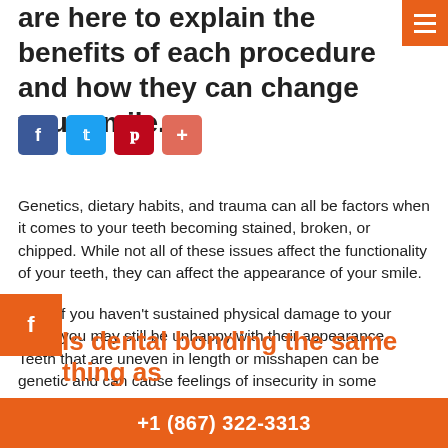are here to explain the benefits of each procedure and how they can change your smile.
[Figure (other): Social share buttons: Facebook (blue), Twitter (light blue), Pinterest (red), Plus (salmon/orange)]
Genetics, dietary habits, and trauma can all be factors when it comes to your teeth becoming stained, broken, or chipped. While not all of these issues affect the functionality of your teeth, they can affect the appearance of your smile.
Even if you haven't sustained physical damage to your teeth, you may still be unhappy with their appearance. Teeth that are uneven in length or misshapen can be genetic and can cause feelings of insecurity in some people.
Is dental bonding the same thing as
+1 (867) 322-3313